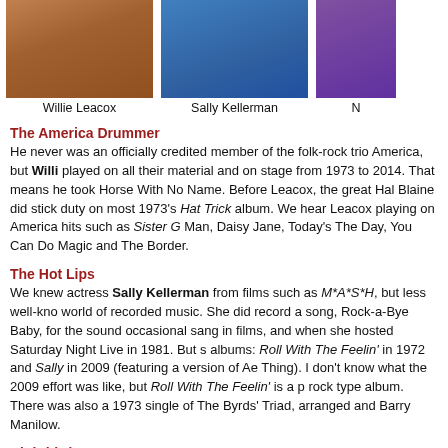[Figure (photo): Photo of Willie Leacox]
Willie Leacox
[Figure (photo): Photo of Sally Kellerman]
Sally Kellerman
[Figure (photo): Partial photo of a third person (N...)]
The America Drummer
He never was an officially credited member of the folk-rock trio America, but Willie played on all their material and on stage from 1973 to 2014. That means he took Horse With No Name. Before Leacox, the great Hal Blaine did stick duty on most 1973's Hat Trick album. We hear Leacox playing on America hits such as Sister C Man, Daisy Jane, Today's The Day, You Can Do Magic and The Border.
The Hot Lips
We knew actress Sally Kellerman from films such as M*A*S*H, but less well-kno world of recorded music. She did record a song, Rock-a-Bye Baby, for the sound occasional sang in films, and when she hosted Saturday Night Live in 1981. But s albums: Roll With The Feelin' in 1972 and Sally in 2009 (featuring a version of Ae Thing). I don't know what the 2009 effort was like, but Roll With The Feelin' is a p rock type album. There was also a 1973 single of The Byrds' Triad, arranged and Barry Manilow.
Nightbirde
Perhaps the most heartbreaking but inspiring story this month is that of singer-so Marczewski, who died of cancer at the age of 31. Despite her illness, Nightbirde a America's Got Talent show, after having been told that her cancer of the lungs, sp for a third time, would kill her. At the audition, she told the panel: "You can't wait u before you decide to be happy." She reached the contest's quarterfinals, in which